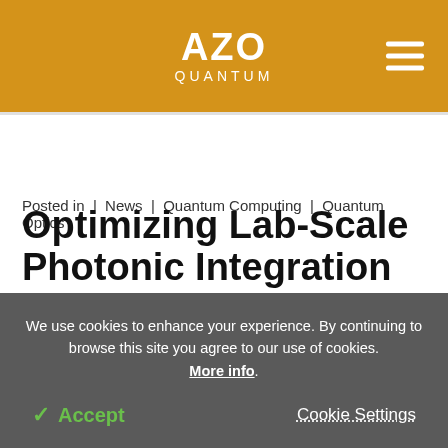AZO QUANTUM
Posted in | News | Quantum Computing | Quantum Optics
Optimizing Lab-Scale Photonic Integration to
We use cookies to enhance your experience. By continuing to browse this site you agree to our use of cookies. More info.
✓ Accept   Cookie Settings